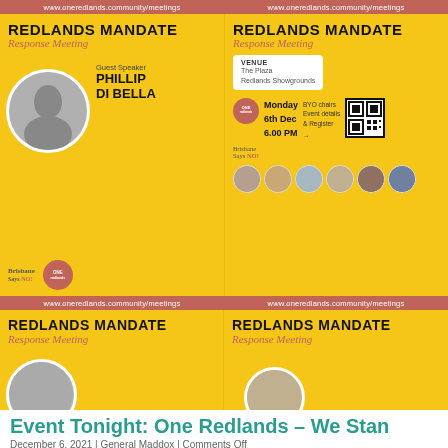[Figure (infographic): Event flyer for Redlands Mandate Response Meeting featuring guest speaker Phillip Di Bella. Yellow background with red/coral accents. Left panel shows speaker photo in circle, text 'Guest Speaker PHILLIP DI BELLA', logos. Right panel shows venue info (The Plaza Redlands Showgrounds), date (Monday 6th Dec 6.00 PM), BYO chairs, QR code, and speaker thumbnails. URL bars top and bottom: www.oneredlands.community/meetings. Two more partial flyers visible below.]
Event Tonight: One Redlands – We Stan...
December 6, 2021 | General Maddox | Comments Off
4 Votes
"Our lives begin to end the day we become silent about things that matter." – Martin L...
On Tuesday 30th November, a group of local Redlands residents and business owners...
choice, apolitical group called "One Redlands – We Stand Together", in response to...